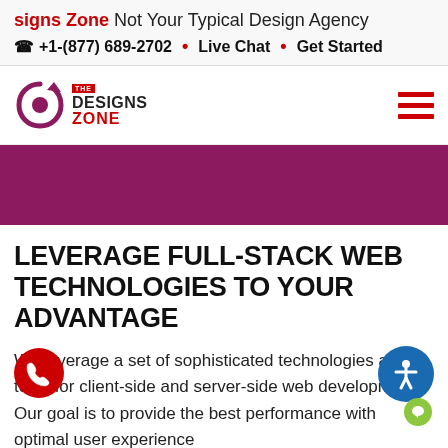signs Zone Not Your Typical Design Agency
+1-(877) 689-2702 • Live Chat • Get Started
[Figure (logo): The Designs Zone logo with circular arrow icon and red THE badge above DESIGNS ZONE text]
[Figure (other): Hamburger menu icon with three red horizontal bars]
[Figure (illustration): Dark magenta/purple hero banner strip]
LEVERAGE FULL-STACK WEB TECHNOLOGIES TO YOUR ADVANTAGE
We leverage a set of sophisticated technologies and tools for client-side and server-side web development. Our goal is to provide the best performance with optimal user experience